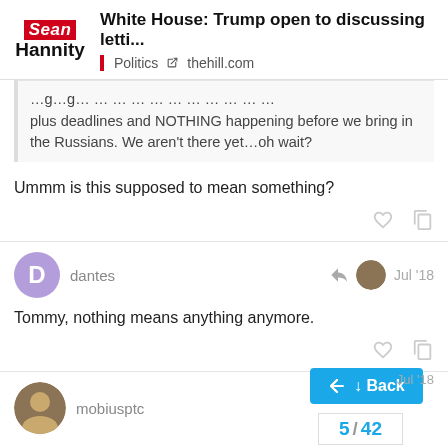White House: Trump open to discussing letti... | Politics | thehill.com
plus deadlines and NOTHING happening before we bring in the Russians. We aren't there yet…oh wait?
Ummm is this supposed to mean something?
dantes  Jul '18
Tommy, nothing means anything anymore.
mobiusptc  Jul '18
5 / 42